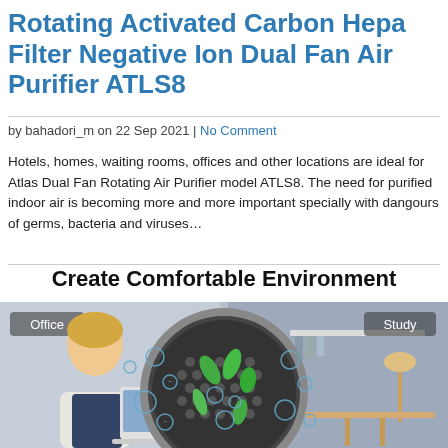Rotating Activated Carbon Hepa Filter Negative Ion Dual Fan Air Purifier ATLS8
by bahadori_m on 22 Sep 2021 | No Comment
Hotels, homes, waiting rooms, offices and other locations are ideal for Atlas Dual Fan Rotating Air Purifier model ATLS8. The need for purified indoor air is becoming more and more important specially with dangours of germs, bacteria and viruses…
Create Comfortable Environment
[Figure (illustration): Air purifier product illustration showing two scenes: 'Office' on the left with a woman at a laptop, and 'Study' on the right with a desk and lamp. The center shows a circular HEPA filter with green leaves and blue circular particles floating around it.]